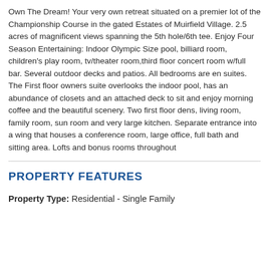Own The Dream! Your very own retreat situated on a premier lot of the Championship Course in the gated Estates of Muirfield Village. 2.5 acres of magnificent views spanning the 5th hole/6th tee. Enjoy Four Season Entertaining: Indoor Olympic Size pool, billiard room, children's play room, tv/theater room,third floor concert room w/full bar. Several outdoor decks and patios. All bedrooms are en suites. The First floor owners suite overlooks the indoor pool, has an abundance of closets and an attached deck to sit and enjoy morning coffee and the beautiful scenery. Two first floor dens, living room, family room, sun room and very large kitchen. Separate entrance into a wing that houses a conference room, large office, full bath and sitting area. Lofts and bonus rooms throughout
PROPERTY FEATURES
Property Type: Residential - Single Family